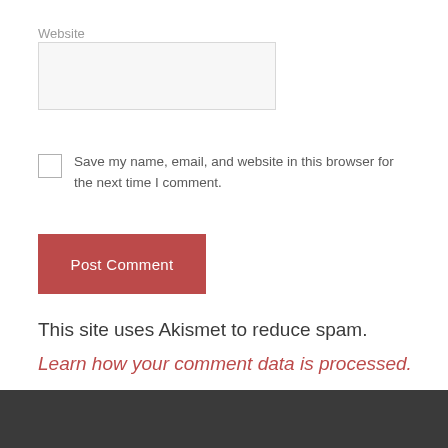Website
Save my name, email, and website in this browser for the next time I comment.
Post Comment
This site uses Akismet to reduce spam.
Learn how your comment data is processed.